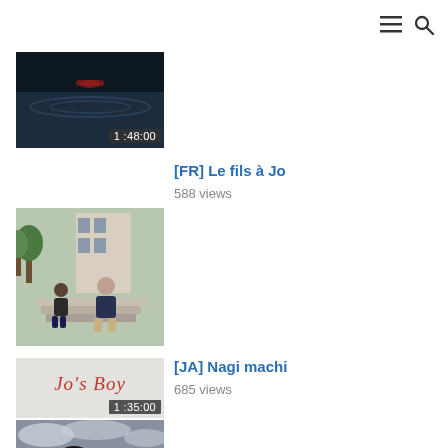☰ 🔍
[Figure (screenshot): Partially visible movie thumbnail showing dark underwater/sky scene with a figure, duration badge 1:48:00]
[Figure (screenshot): Movie thumbnail for Le fils à Jo showing two people sitting on steps outside a building]
[FR] Le fils à Jo
588 views
[Figure (screenshot): Jo's Boy title card with red italic serif text on light background, duration badge 1:35:00]
[JA] Nagi machi
685 views
[Figure (screenshot): Movie thumbnail for Nagi machi showing a man with dark hair looking serious, with crowd behind him and industrial chimneys]